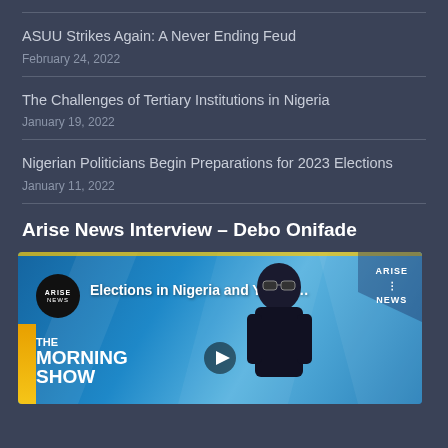ASUU Strikes Again: A Never Ending Feud
February 24, 2022
The Challenges of Tertiary Institutions in Nigeria
January 19, 2022
Nigerian Politicians Begin Preparations for 2023 Elections
January 11, 2022
Arise News Interview – Debo Onifade
[Figure (screenshot): YouTube video thumbnail showing Arise News Morning Show with title 'Elections in Nigeria and Youth…' overlaid on a blue geometric background with a person in sunglasses visible]